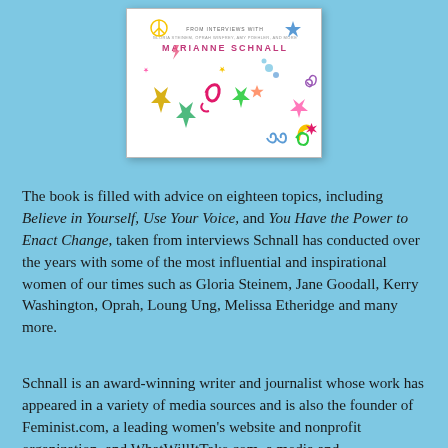[Figure (illustration): Book cover of a book by Marianne Schnall, featuring colorful decorative doodles (stars, peace signs, musical notes, moons, spirals, hearts) on a white background, with text 'FROM INTERVIEWS WITH GLORIA STEINEM, OPRAH WINFREY, AMY POEHLER, AND MORE' and author name 'MARIANNE SCHNALL']
The book is filled with advice on eighteen topics, including Believe in Yourself, Use Your Voice, and You Have the Power to Enact Change, taken from interviews Schnall has conducted over the years with some of the most influential and inspirational women of our times such as Gloria Steinem, Jane Goodall, Kerry Washington, Oprah, Loung Ung, Melissa Etheridge and many more.
Schnall is an award-winning writer and journalist whose work has appeared in a variety of media sources and is also the founder of Feminist.com, a leading women's website and nonprofit organization, and WhatWillItTake.com, a media and